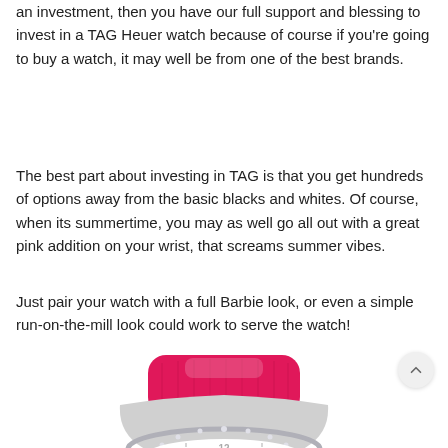an investment, then you have our full support and blessing to invest in a TAG Heuer watch because of course if you're going to buy a watch, it may well be from one of the best brands.
The best part about investing in TAG is that you get hundreds of options away from the basic blacks and whites. Of course, when its summertime, you may as well go all out with a great pink addition on your wrist, that screams summer vibes.
Just pair your watch with a full Barbie look, or even a simple run-on-the-mill look could work to serve the watch!
[Figure (photo): A TAG Heuer watch with a bright pink/magenta leather strap and a silver dial with diamond bezel, showing the number 12, photographed from above at an angle.]